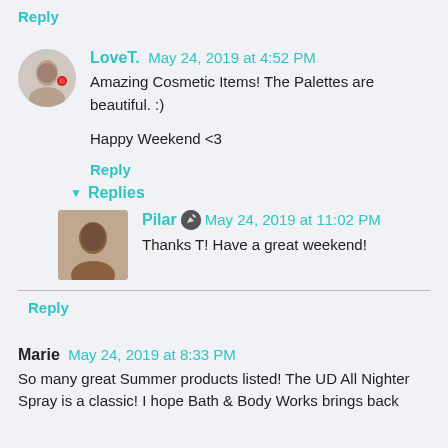Reply
LoveT.  May 24, 2019 at 4:52 PM
Amazing Cosmetic Items! The Palettes are beautiful. :)

Happy Weekend <3
Reply
Replies
Pilar  May 24, 2019 at 11:02 PM
Thanks T! Have a great weekend!
Reply
Marie  May 24, 2019 at 8:33 PM
So many great Summer products listed! The UD All Nighter Spray is a classic! I hope Bath & Body Works brings back